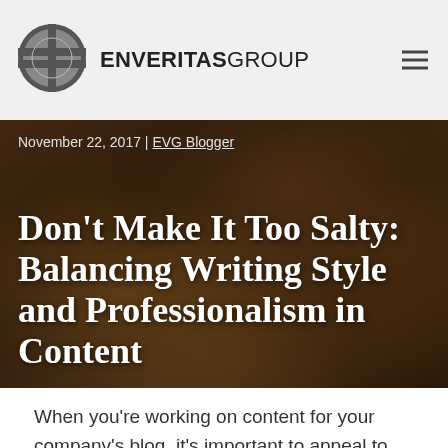ENVERITAS GROUP
[Figure (logo): EnVeritas Group circular logo with horizontal bands]
November 22, 2017 | EVG Blogger
Don’t Make It Too Salty: Balancing Writing Style and Professionalism in Content
[Figure (photo): Background food photo showing various dishes including pies and roasted vegetables, darkened with overlay]
When you’re working on content for your company’s blog, it’s important to appeal to readers. Thus, most company blogs go for a